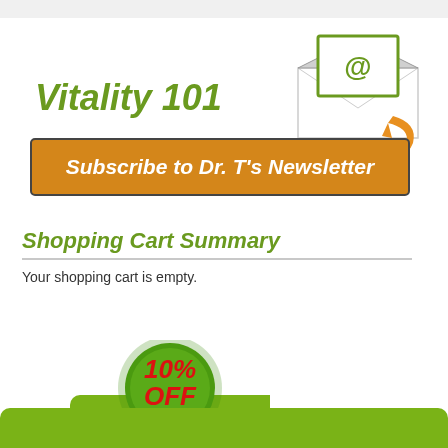[Figure (illustration): Email newsletter subscription widget with envelope icon showing @ symbol, orange arrow, green 'Vitality 101' italic title, and orange subscribe button reading 'Subscribe to Dr. T's Newsletter']
Shopping Cart Summary
Your shopping cart is empty.
[Figure (illustration): Green circular discount badge showing '10% OFF' in red text with white arrow, above a green rounded banner]